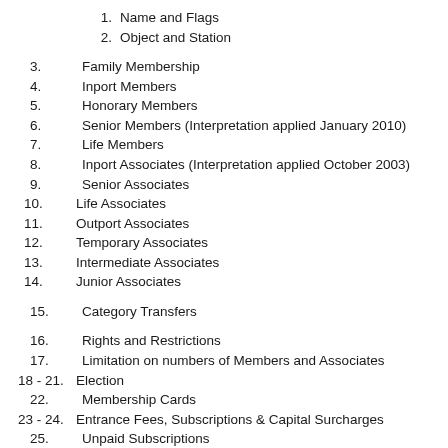1.  Name and Flags
2.  Object and Station
3.  Family Membership
4.  Inport Members
5.  Honorary Members
6.  Senior Members (Interpretation applied January 2010)
7.  Life Members
8.  Inport Associates (Interpretation applied October 2003)
9.  Senior Associates
10. Life Associates
11. Outport Associates
12. Temporary Associates
13. Intermediate Associates
14. Junior Associates
15. Category Transfers
16. Rights and Restrictions
17. Limitation on numbers of Members and Associates
18 - 21. Election
22. Membership Cards
23 - 24. Entrance Fees, Subscriptions & Capital Surcharges
25. Unpaid Subscriptions
26 - 28. Officers, Committee and management
29. General Meetings
30. Notice of General Meetings